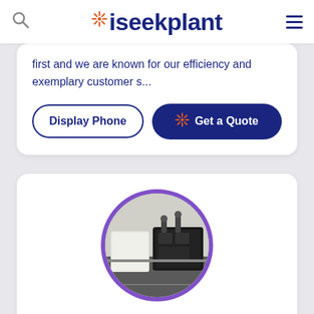iseekplant
first and we are known for our efficiency and exemplary customer s...
Display Phone
Get a Quote
[Figure (photo): Circular photo of industrial liquid waste equipment (pump/generator unit on a flatbed) with purple circular border]
Beaudesert Liquid Waste
Recommended